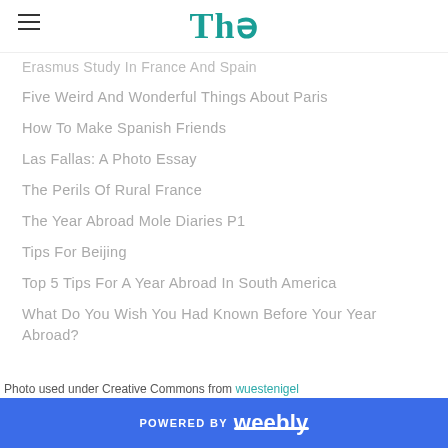Thə
Erasmus Study In France And Spain
Five Weird And Wonderful Things About Paris
How To Make Spanish Friends
Las Fallas: A Photo Essay
The Perils Of Rural France
The Year Abroad Mole Diaries P1
Tips For Beijing
Top 5 Tips For A Year Abroad In South America
What Do You Wish You Had Known Before Your Year Abroad?
What's It Like?
What To Putin Your Suitcase: A Guide For Russia
Year Abroad Encounters: Falling In Love In A Foreign Land
Photo used under Creative Commons from wuestenigel
POWERED BY weebly